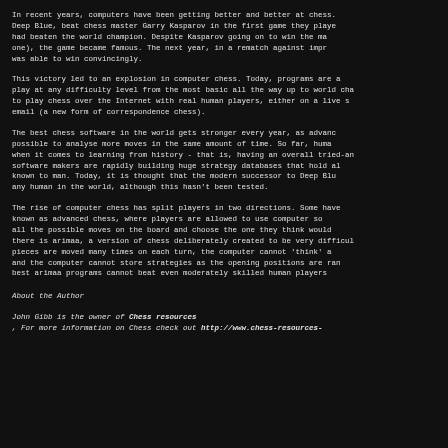In recent years, computers have been getting better and better at chess. Deep Blue, beat chess master Garry Kasparov in the first game they played had beaten the world champion. Despite Kasparov going on to win the ma one), the game became famous. The next year, in a rematch against impr was able to win convincingly.
This victory led to an explosion in computer chess. Today, programs are a play at any difficulty level from the most basic all the way up to world cha to play chess over the Internet with real human players, either on a live s email (a new form of correspondence chess).
The best chess software in the world gets stronger every year, as advanc possible to analyse more moves in the same amount of time. So far, huma when it comes to learning from history - that is, having an overall tried-an software makers are rapidly building huge strategy databases that hold al known to man. Today, it is thought that the modern successor to Deep Blu any human in the world, although this hasn't been tested.
The rise of computer chess has split players in two directions. Some have known as advanced chess, where players are allowed to use computer so all the possible moves on the board and choose the one they think would there is arimaa, a version of chess deliberately created to be very difficul pieces are moved many times on each turn, the computer cannot 'think' a and the computer cannot store strategies as the opening positions are ran best arimaa programs cannot beat even moderately skilled human players
About the Author
John Gibb is the owner of Chess resources , For more information on Chess check out http://www.chess-resources-